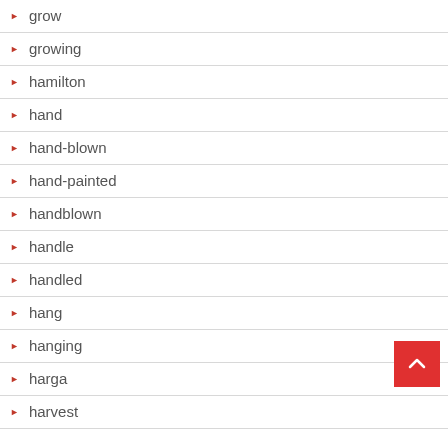grow
growing
hamilton
hand
hand-blown
hand-painted
handblown
handle
handled
hang
hanging
harga
harvest